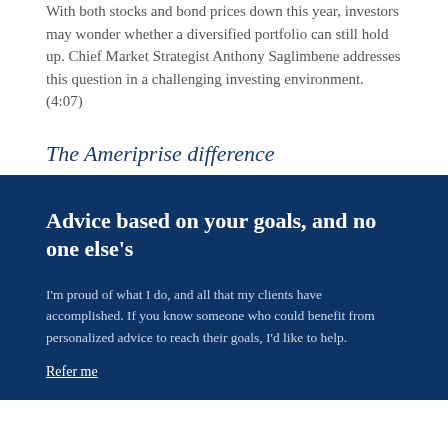With both stocks and bond prices down this year, investors may wonder whether a diversified portfolio can still hold up. Chief Market Strategist Anthony Saglimbene addresses this question in a challenging investing environment. (4:07)
The Ameriprise difference
Advice based on your goals, and no one else's
I'm proud of what I do, and all that my clients have accomplished. If you know someone who could benefit from personalized advice to reach their goals, I'd like to help.
Refer me